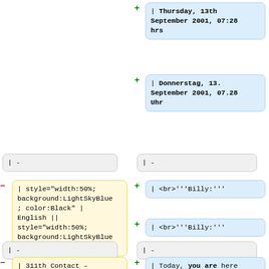+ | Thursday, 13th September 2001, 07:28 hrs
+ | Donnerstag, 13. September 2001, 07.28 Uhr
|-
|-
- | style="width:50%; background:LightSkyBlue; color:Black" | English || style="width:50%; background:LightSkyBlue; color:Black" | German
+ | <br>'''Billy:'''
+ | <br>'''Billy:'''
|-
|-
- | 311th Contact – Thursday, September 13, 2001, 7:28 AM (Block 8,
+ | Today, you are here early again, my friend. Nice greetings to the